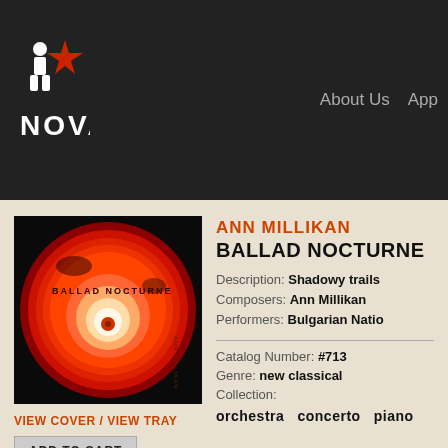[Figure (logo): NOVA music label logo with red star and figure icon, white text NOVA on dark background]
About Us  App
[Figure (photo): Album cover for Ballad Nocturne by Ann Millikan showing a red spiral cosmic image]
VIEW COVER / VIEW TRAY
ADD TO CART
ANN MILLIKAN
BALLAD NOCTURNE
Description: Shadowy trails
Composers: Ann Millikan
Performers: Bulgarian Natio
Catalog Number: #713
Genre: new classical
Collection:
orchestra  concerto  piano